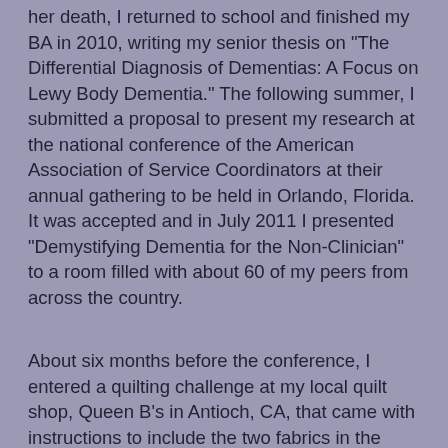her death, I returned to school and finished my BA in 2010, writing my senior thesis on "The Differential Diagnosis of Dementias: A Focus on Lewy Body Dementia." The following summer, I submitted a proposal to present my research at the national conference of the American Association of Service Coordinators at their annual gathering to be held in Orlando, Florida. It was accepted and in July 2011 I presented "Demystifying Dementia for the Non-Clinician" to a room filled with about 60 of my peers from across the country.
About six months before the conference, I entered a quilting challenge at my local quilt shop, Queen B's in Antioch, CA, that came with instructions to include the two fabrics in the packet with whatever others we wanted into some creative project. I chose the fabrics to go with the challenge fabrics and decided to make log cabin blocks. Included in the challenge packet were the darkest purple used in the log cabins and the lightest orchid fairy frost used for the collar. I put the blocks up on my design board and there they sat for what felt like months! I'm sure it was only weeks since there